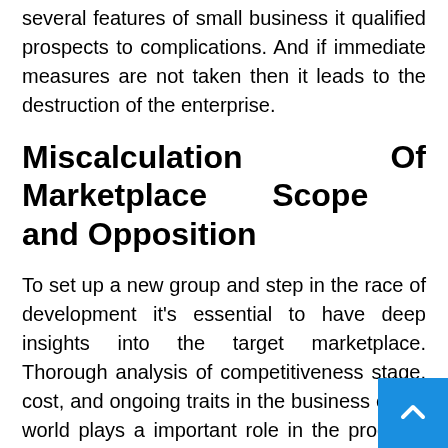several features of small business it qualified prospects to complications. And if immediate measures are not taken then it leads to the destruction of the enterprise.
Miscalculation Of Marketplace Scope and Opposition
To set up a new group and step in the race of development it's essential to have deep insights into the target marketplace. Thorough analysis of competitiveness stage, cost, and ongoing traits in the business entire world plays a important role in the progress of a business. It assists you to realize the pain points of your target customers, requires, and prerequisites. You can also estimate the...